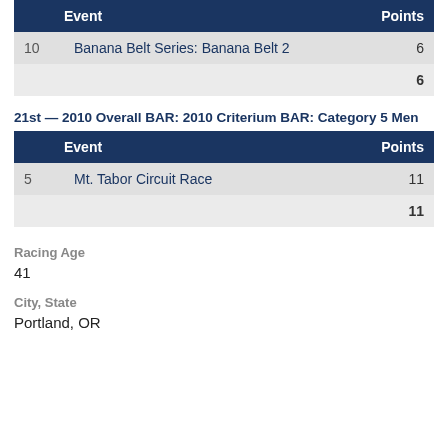|  | Event | Points |
| --- | --- | --- |
| 10 | Banana Belt Series: Banana Belt 2 | 6 |
|  |  | 6 |
21st — 2010 Overall BAR: 2010 Criterium BAR: Category 5 Men
|  | Event | Points |
| --- | --- | --- |
| 5 | Mt. Tabor Circuit Race | 11 |
|  |  | 11 |
Racing Age
41
City, State
Portland, OR